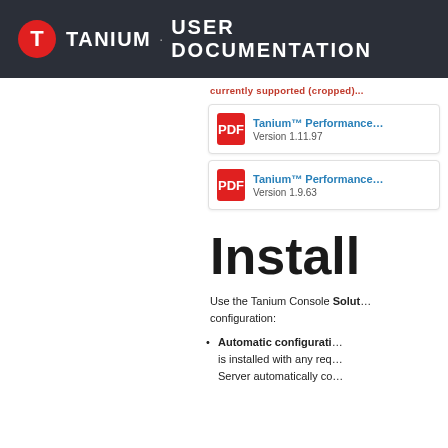TANIUM USER DOCUMENTATION
Currently supported (cropped)
Tanium™ Performance  Version 1.11.97
Tanium™ Performance  Version 1.9.63
Install
Use the Tanium Console Solut configuration:
Automatic configurati is installed with any req Server automatically co